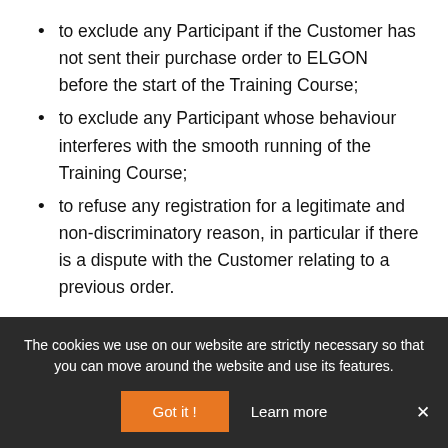to exclude any Participant if the Customer has not sent their purchase order to ELGON before the start of the Training Course;
to exclude any Participant whose behaviour interferes with the smooth running of the Training Course;
to refuse any registration for a legitimate and non-discriminatory reason, in particular if there is a dispute with the Customer relating to a previous order.
The cookies we use on our website are strictly necessary so that you can move around the website and use its features.